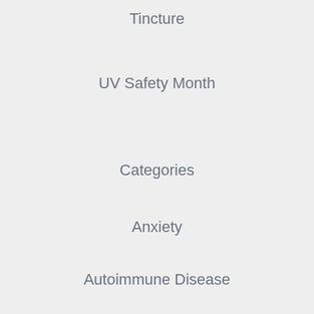Tincture
UV Safety Month
Categories
Anxiety
Autoimmune Disease
Breast Health
Cancer
Detoxification
Digestion
Educational